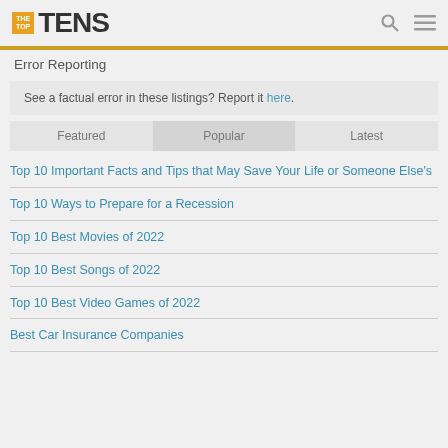THE TOP TENS
Error Reporting
See a factual error in these listings? Report it here.
Featured | Popular | Latest
Top 10 Important Facts and Tips that May Save Your Life or Someone Else's
Top 10 Ways to Prepare for a Recession
Top 10 Best Movies of 2022
Top 10 Best Songs of 2022
Top 10 Best Video Games of 2022
Best Car Insurance Companies